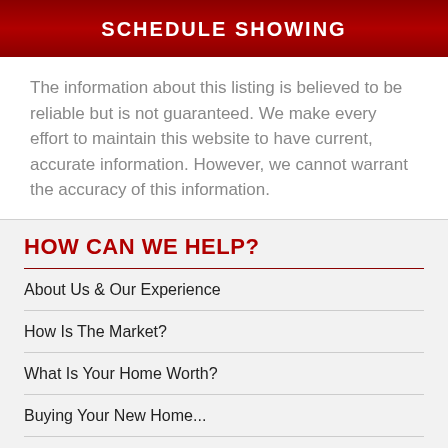SCHEDULE SHOWING
The information about this listing is believed to be reliable but is not guaranteed. We make every effort to maintain this website to have current, accurate information. However, we cannot warrant the accuracy of this information.
HOW CAN WE HELP?
About Us & Our Experience
How Is The Market?
What Is Your Home Worth?
Buying Your New Home...
Selling Your Home...
GO SOCIAL